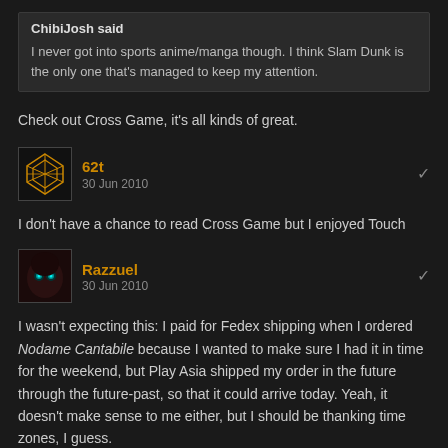ChibiJosh said
I never got into sports anime/manga though. I think Slam Dunk is the only one that's managed to keep my attention.
Check out Cross Game, it's all kinds of great.
62t
30 Jun 2010
I don't have a chance to read Cross Game but I enjoyed Touch
Razzuel
30 Jun 2010
I wasn't expecting this: I paid for Fedex shipping when I ordered Nodame Cantabile because I wanted to make sure I had it in time for the weekend, but Play Asia shipped my order in the future through the future-past, so that it could arrive today. Yeah, it doesn't make sense to me either, but I should be thanking time zones, I guess.

I don't normally post in-progress impressions, but I thought I should this time. I finished watching the first disc of Nodame Cantabile — the first four